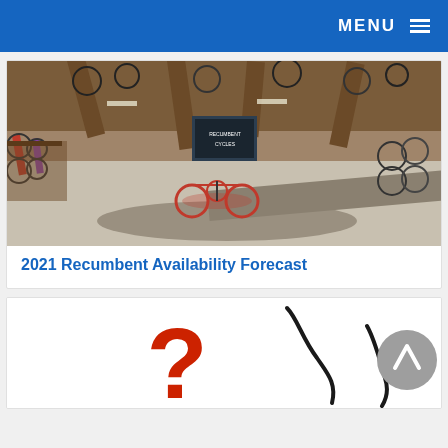MENU
[Figure (photo): Panoramic interior photo of a recumbent bicycle shop with many bikes displayed on the floor and hanging from the ceiling rafters, including a red recumbent trike in the center.]
2021 Recumbent Availability Forecast
[Figure (illustration): Partial view of a card showing a large red question mark and two black curved lines (resembling recumbent bike frames), with a grey scroll-to-top button in the lower right.]